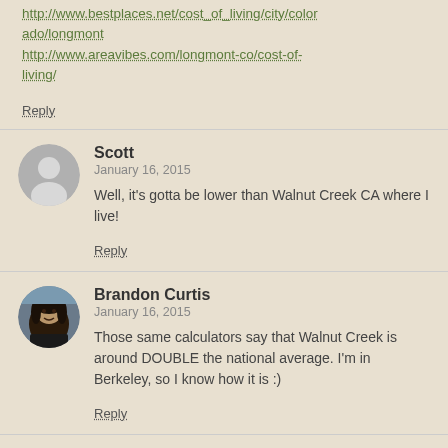http://www.bestplaces.net/cost_of_living/city/colorado/longmont
http://www.areavibes.com/longmont-co/cost-of-living/
Reply
Scott
January 16, 2015
Well, it's gotta be lower than Walnut Creek CA where I live!
Reply
Brandon Curtis
January 16, 2015
Those same calculators say that Walnut Creek is around DOUBLE the national average. I'm in Berkeley, so I know how it is :)
Reply